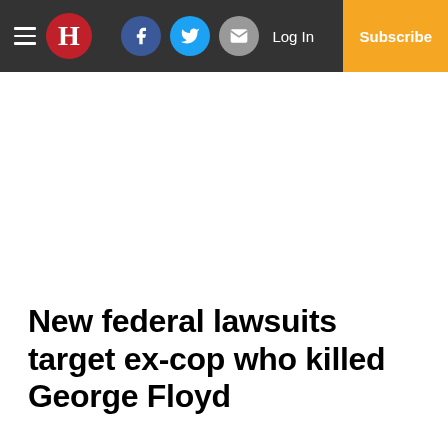≡ H | Facebook | Twitter | Email | Log In | Subscribe
New federal lawsuits target ex-cop who killed George Floyd